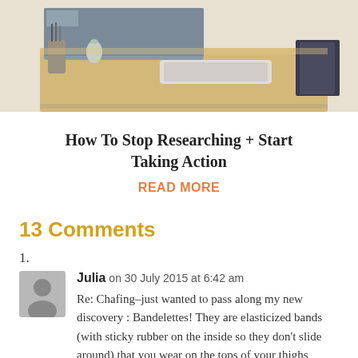[Figure (photo): A desk workspace with a keyboard, monitor, and office supplies photographed from above/side angle]
How To Stop Researching + Start Taking Action
READ MORE
13 Comments
1.
Julia on 30 July 2015 at 6:42 am
Re: Chafing–just wanted to pass along my new discovery : Bandelettes! They are elasticized bands (with sticky rubber on the inside so they don't slide around) that you wear on the tops of your thighs